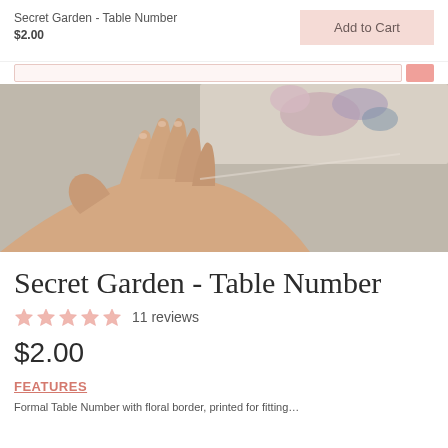Secret Garden - Table Number
$2.00
Add to Cart
[Figure (photo): A hand holding a floral table number card with pink and blue flowers against a gray-green background]
Secret Garden - Table Number
11 reviews
$2.00
FEATURES